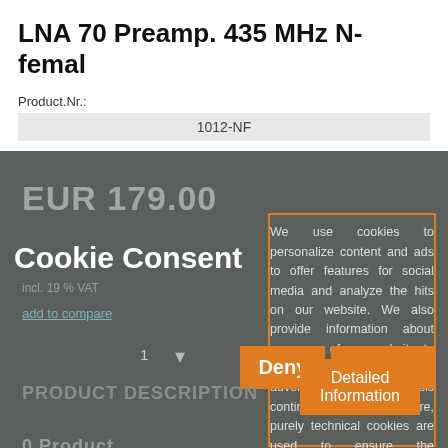LNA 70 Preamp. 435 MHz N-femal
Product.Nr.:
| 1012-NF |
EUR 179.00
Cookie Consent
incl. 19 % VAT
add to compare
1
We use cookies to personalize content and ads to offer features for social media and analyze the hits on our website. We also provide information about your use of our website to our partner for social media, advertising and analysis continues. Furthermore, purely technical cookies are used to ensure the functionality of the website, these cannot be deactivated.
PRODUCT DESCRIPTION
0 Product
Deny
Accept
Detailed Information